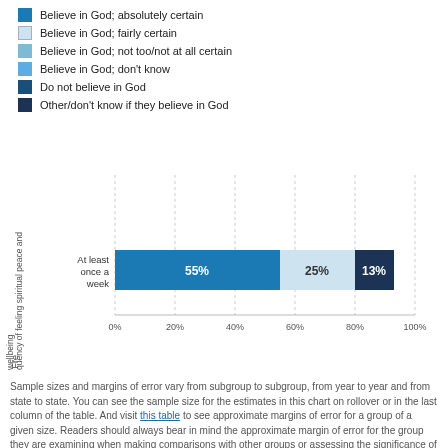Believe in God; absolutely certain
Believe in God; fairly certain
Believe in God; not too/not at all certain
Believe in God; don't know
Do not believe in God
Other/don't know if they believe in God
[Figure (stacked-bar-chart): Frequency of feeling spiritual peace and wellbeing]
Sample sizes and margins of error vary from subgroup to subgroup, from year to year and from state to state. You can see the sample size for the estimates in this chart on rollover or in the last column of the table. And visit this table to see approximate margins of error for a group of a given size. Readers should always bear in mind the approximate margin of error for the group they are examining when making comparisons with other groups or assessing the significance of